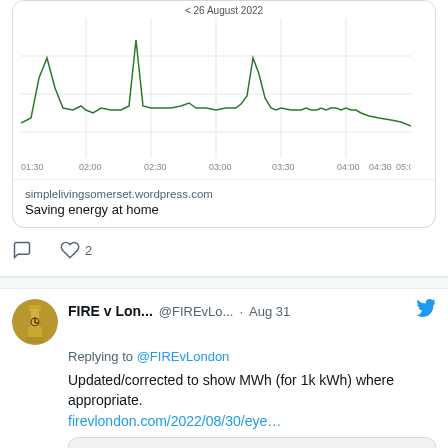[Figure (continuous-plot): Energy usage line chart showing spikes over time from 01:30 to 05:00 on 26 August 2022, with green line on white background with grid lines]
simplelivingsomerset.wordpress.com
Saving energy at home
2 (likes)
FIRE v Lon...  @FIREvLo...  · Aug 31
Replying to @FIREvLondon
Updated/corrected to show MWh (for 1k kWh) where appropriate.
firevlondon.com/2022/08/30/eye…
[Figure (screenshot): Preview image of energy costs 2022 chart/infographic (partially blurred)]